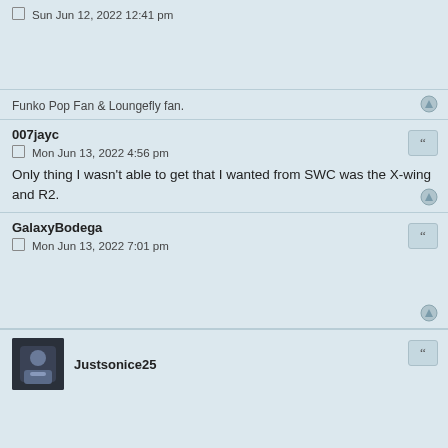Sun Jun 12, 2022 12:41 pm
Funko Pop Fan & Loungefly fan.
007jayc
Mon Jun 13, 2022 4:56 pm
Only thing I wasn't able to get that I wanted from SWC was the X-wing and R2.
GalaxyBodega
Mon Jun 13, 2022 7:01 pm
Justsonice25